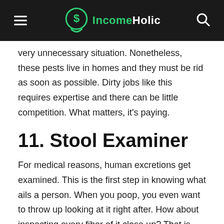IncomeHolic
very unnecessary situation. Nonetheless, these pests live in homes and they must be rid as soon as possible. Dirty jobs like this requires expertise and there can be little competition. What matters, it's paying.
11. Stool Examiner
For medical reasons, human excretions get examined. This is the first step in knowing what ails a person. When you poop, you even want to throw up looking at it right after. How about inspecting every fiber of it close up? That is what a gastroenterologist gets paid for. To examine human stool for a physician to diagnose after. This may sound like a dirty money source, but this is basically legal, legit, and essential.